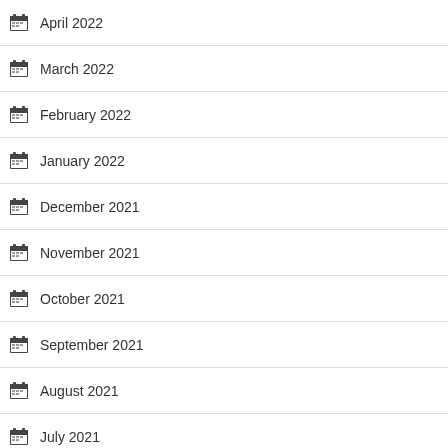April 2022
March 2022
February 2022
January 2022
December 2021
November 2021
October 2021
September 2021
August 2021
July 2021
June 2021
May 2021
July 2017